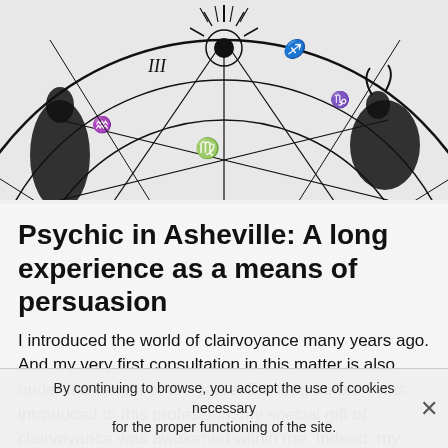[Figure (illustration): Black and white astrological/zodiac wheel chart with symbols including Roman numerals, zodiac signs, and mystical figures. Partial view showing upper portion of circular chart with sun-like rays at top and various zodiac symbols around the ring.]
Psychic in Asheville: A long experience as a means of persuasion
I introduced the world of clairvoyance many years ago. And my very first consultation in this matter is also under the weight of the years. But long before I was introduced to this profession, my special gift of clairvoyance was awakened within me. Indeed, my very first contact with my gift of clairvoyance probably goes back to when I was younger.
As far as my memory can carry me, I always had the
By continuing to browse, you accept the use of cookies necessary for the proper functioning of the site.